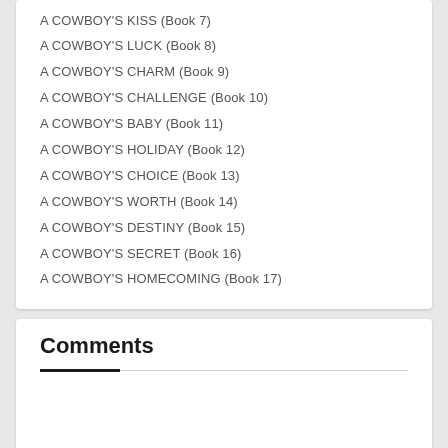A COWBOY'S KISS (Book 7)
A COWBOY'S LUCK (Book 8)
A COWBOY'S CHARM (Book 9)
A COWBOY'S CHALLENGE (Book 10)
A COWBOY'S BABY (Book 11)
A COWBOY'S HOLIDAY (Book 12)
A COWBOY'S CHOICE (Book 13)
A COWBOY'S WORTH (Book 14)
A COWBOY'S DESTINY (Book 15)
A COWBOY'S SECRET (Book 16)
A COWBOY'S HOMECOMING (Book 17)
Comments